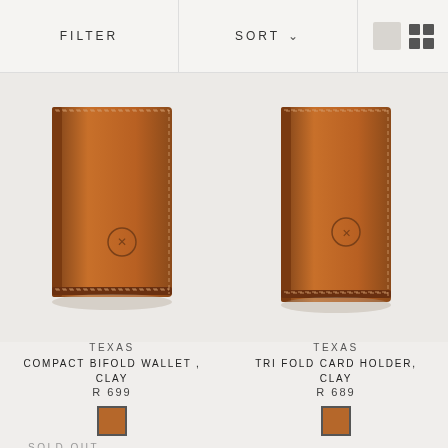FILTER   SORT   [grid icons]
[Figure (photo): Brown leather Texas Compact Bifold Wallet in Clay, shown closed, upright view]
TEXAS
COMPACT BIFOLD WALLET , CLAY
R 699
[Figure (photo): Brown leather Texas Tri Fold Card Holder in Clay, shown closed, upright view]
TEXAS
TRI FOLD CARD HOLDER, CLAY
R 689
SOLD OUT
[Figure (photo): Black leather wallet, partially visible at the bottom of the page]
[Figure (photo): Black leather card holder, partially visible at the bottom of the page]